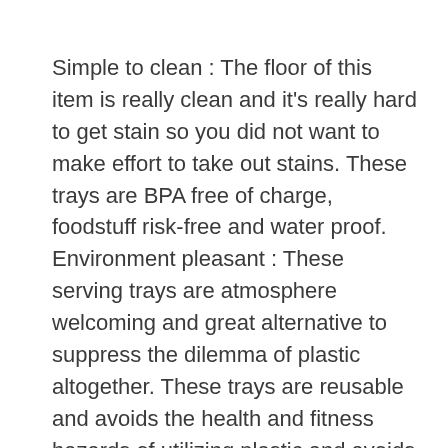Simple to clean : The floor of this item is really clean and it's really hard to get stain so you did not want to make effort to take out stains. These trays are BPA free of charge, foodstuff risk-free and water proof.
Environment pleasant : These serving trays are atmosphere welcoming and great alternative to suppress the dilemma of plastic altogether. These trays are reusable and avoids the health and fitness hazards of utilizing plastic and avoids the challenge of normal plastic disposal.
Designed in India : Not like a lot of Chinese options out there at more affordable charges and inadequate excellent these trays are manufactured up of mango wood in India.